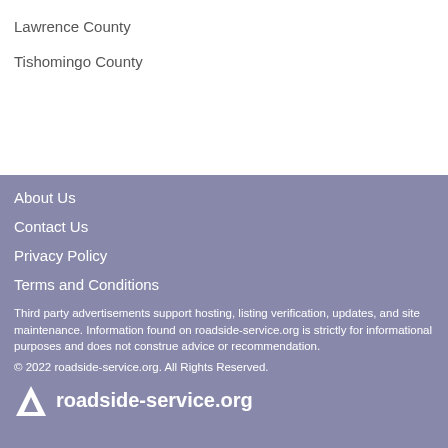Lawrence County
Tishomingo County
About Us
Contact Us
Privacy Policy
Terms and Conditions
Third party advertisements support hosting, listing verification, updates, and site maintenance. Information found on roadside-service.org is strictly for informational purposes and does not construe advice or recommendation.
© 2022 roadside-service.org. All Rights Reserved.
roadside-service.org